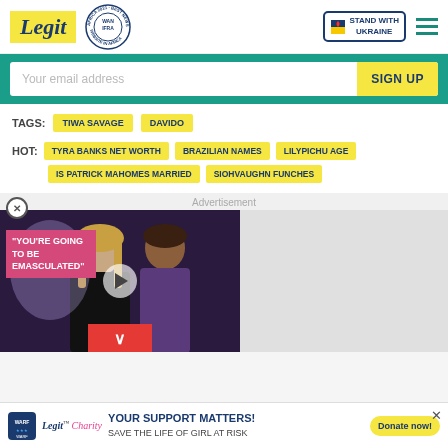Legit - Best News Website in Africa 2021 (WAN IFRA)
Your email address | SIGN UP
TAGS: TIWA SAVAGE  DAVIDO
HOT: TYRA BANKS NET WORTH  BRAZILIAN NAMES  LILYPICHU AGE  IS PATRICK MAHOMES MARRIED  SIOHVAUGHN FUNCHES
[Figure (screenshot): Advertisement video player showing two people (man and woman) at an event, with pink overlay text reading 'YOU'RE GOING TO BE EMASCULATED', a play button, and a red minimize chevron button.]
YOUR SUPPORT MATTERS! SAVE THE LIFE OF GIRL AT RISK | Donate now!